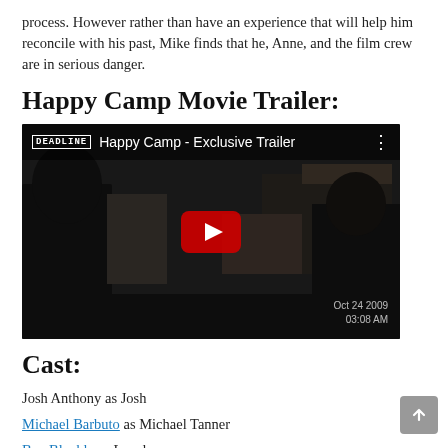process. However rather than have an experience that will help him reconcile with his past, Mike finds that he, Anne, and the film crew are in serious danger.
Happy Camp Movie Trailer:
[Figure (screenshot): Embedded YouTube video thumbnail for 'Happy Camp - Exclusive Trailer' from DEADLINE. Dark scene showing people on what appears to be a train. Red YouTube play button in center. Timestamp reads Oct 24 2009 03:08 AM in bottom right.]
Cast:
Josh Anthony as Josh
Michael Barbuto as Michael Tanner
Ben Blenkle as Local